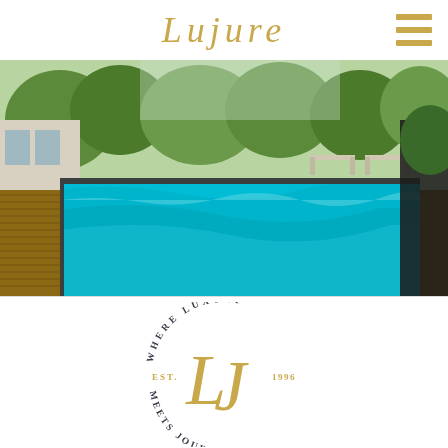Lujure
[Figure (photo): Outdoor luxury pool with wooden deck, lounge chairs, and lush greenery in background]
[Figure (logo): Lujure circular badge logo with LJ monogram in gold, text reading WHERE LUXURY MEETS JOURNEY, EST. 1996]